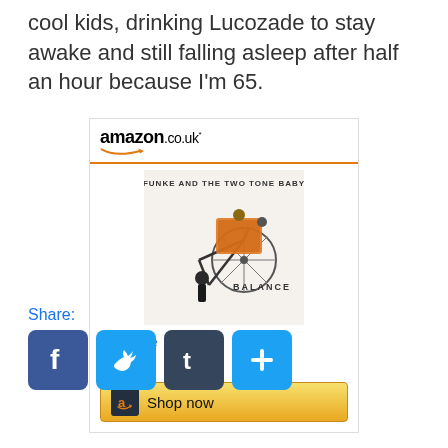cool kids, drinking Lucozade to stay awake and still falling asleep after half an hour because I'm 65.
[Figure (screenshot): Amazon.co.uk product widget showing album 'Balance' by Funke and the Two Tone Baby, priced at £5.49 with a 'Shop now' button]
Share:
[Figure (infographic): Social share buttons: Facebook, Twitter, Tumblr, and a plus/more button]